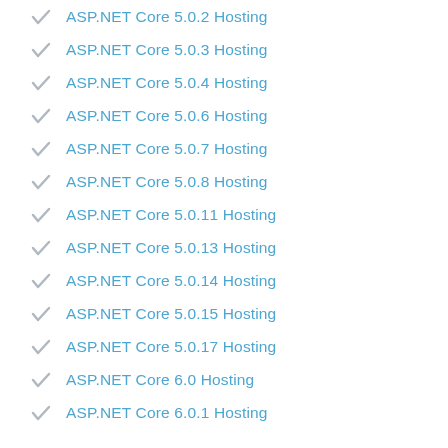ASP.NET Core 5.0.2 Hosting
ASP.NET Core 5.0.3 Hosting
ASP.NET Core 5.0.4 Hosting
ASP.NET Core 5.0.6 Hosting
ASP.NET Core 5.0.7 Hosting
ASP.NET Core 5.0.8 Hosting
ASP.NET Core 5.0.11 Hosting
ASP.NET Core 5.0.13 Hosting
ASP.NET Core 5.0.14 Hosting
ASP.NET Core 5.0.15 Hosting
ASP.NET Core 5.0.17 Hosting
ASP.NET Core 6.0 Hosting
ASP.NET Core 6.0.1 Hosting